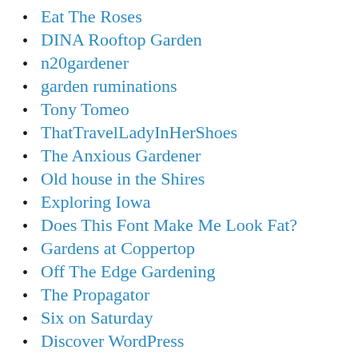Eat The Roses
DINA Rooftop Garden
n20gardener
garden ruminations
Tony Tomeo
ThatTravelLadyInHerShoes
The Anxious Gardener
Old house in the Shires
Exploring Iowa
Does This Font Make Me Look Fat?
Gardens at Coppertop
Off The Edge Gardening
The Propagator
Six on Saturday
Discover WordPress
Longreads